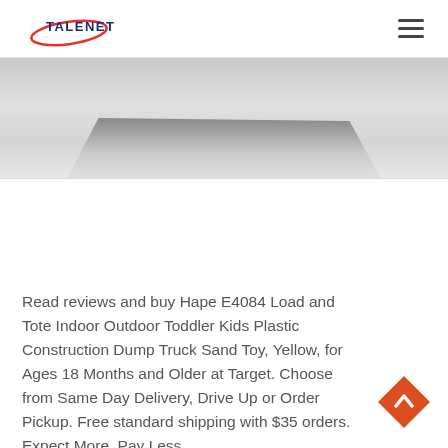[Figure (logo): Talenet logo with text and swoosh graphic]
[Figure (photo): Partial product photo of a construction dump truck toy on a light gray surface]
Read reviews and buy Hape E4084 Load and Tote Indoor Outdoor Toddler Kids Plastic Construction Dump Truck Sand Toy, Yellow, for Ages 18 Months and Older at Target. Choose from Same Day Delivery, Drive Up or Order Pickup. Free standard shipping with $35 orders. Expect More. Pay Less.